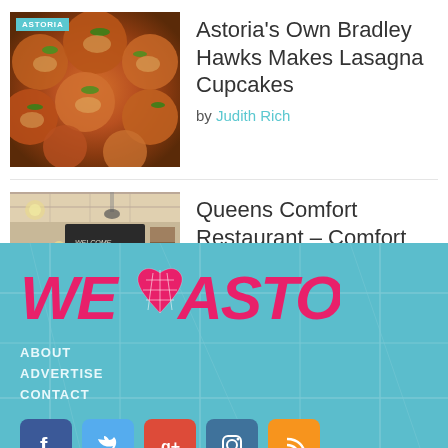[Figure (photo): Close-up photo of lasagna cupcakes (food) with ASTORIA tag]
Astoria’s Own Bradley Hawks Makes Lasagna Cupcakes
by Judith Rich
[Figure (photo): Interior of Queens Comfort Restaurant showing Welcome chalkboard sign]
Queens Comfort Restaurant – Comfort Food in Astoria
by Meg Cotner
[Figure (logo): We Heart Astoria logo in pink/magenta with heart map graphic]
ABOUT
ADVERTISE
CONTACT
[Figure (infographic): Social media icons row: Facebook, Twitter, Google+, Instagram, RSS]